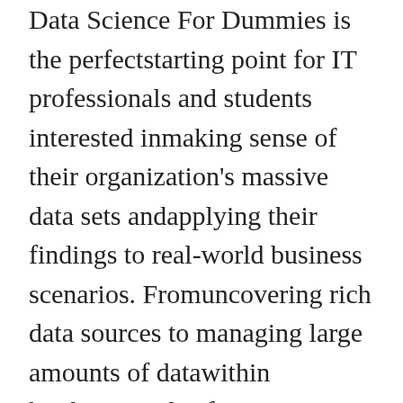Data Science For Dummies is the perfectstarting point for IT professionals and students interested inmaking sense of their organization's massive data sets andapplying their findings to real-world business scenarios. Fromuncovering rich data sources to managing large amounts of datawithin hardware and software limitations, ensuring consistency inreporting, merging various data sources, and beyond, you'lldevelop the know-how you need to effectively interpret data andtell a story that can be understood by anyone in yourorganization. * Provides a background in data science fundamentals beforemoving on to working with relational databases and